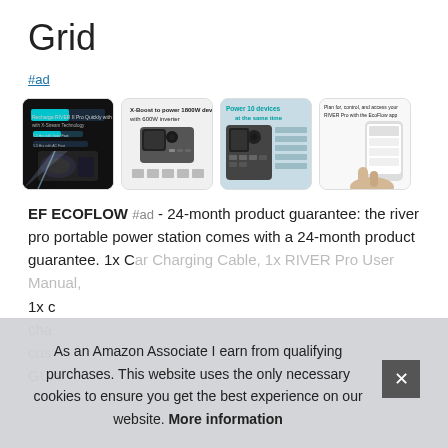Grid
#ad
[Figure (photo): Grid of 4 product images for EF ECOFLOW RIVER Pro portable power station: (1) dark background with power station and light beam, (2) white background showing X-Boost to power 1800W devices with 600W inverter, (3) teal background showing Power 10 devices at the same time, (4) white background showing Plan for control and access your RIVER Pro with the EcoFlow app]
EF ECOFLOW #ad - 24-month product guarantee: the river pro portable power station comes with a 24-month product guarantee. 1x Car Charging Cable, 1x RIVER Pro User Manual, 1x DC5521 to DC5525 charging cable, 1x AC charging cable, customer service. GUARANTEE
As an Amazon Associate I earn from qualifying purchases. This website uses the only necessary cookies to ensure you get the best experience on our website. More information